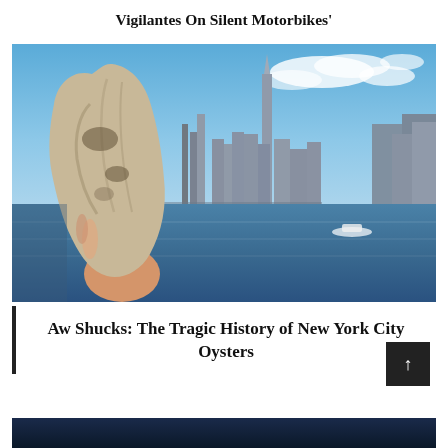Vigilantes On Silent Motorbikes'
[Figure (photo): A hand holding a large oyster shell with the New York City skyline and harbor in the background on a sunny day]
Aw Shucks: The Tragic History of New York City Oysters